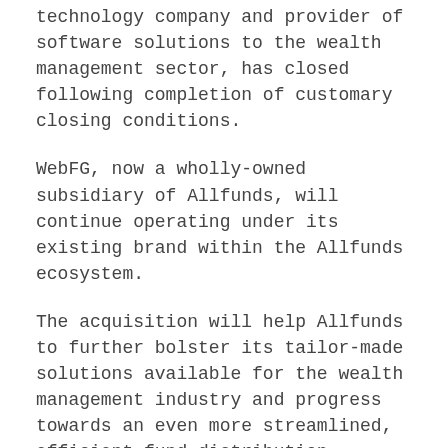technology company and provider of software solutions to the wealth management sector, has closed following completion of customary closing conditions.
WebFG, now a wholly-owned subsidiary of Allfunds, will continue operating under its existing brand within the Allfunds ecosystem.
The acquisition will help Allfunds to further bolster its tailor-made solutions available for the wealth management industry and progress towards an even more streamlined, efficient fund distribution ecosystem. Allfunds will approach strategically the combined service offering and scalability for WebFG's existing client base, which includes retail banks, wealth managers, investment platforms and private banks.